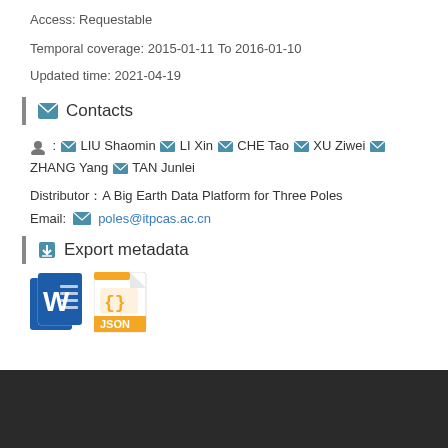Access: Requestable
Temporal coverage: 2015-01-11 To 2016-01-10
Updated time: 2021-04-19
Contacts
LIU Shaomin  LI Xin  CHE Tao  XU Ziwei  ZHANG Yang  TAN Junlei
Distributor：A Big Earth Data Platform for Three Poles
Email: poles@itpcas.ac.cn
Export metadata
[Figure (illustration): Word document icon and JSON file icon for metadata export]